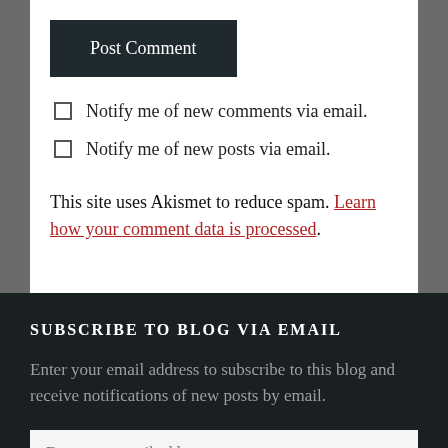Post Comment
Notify me of new comments via email.
Notify me of new posts via email.
This site uses Akismet to reduce spam. Learn how your comment data is processed.
SUBSCRIBE TO BLOG VIA EMAIL
Enter your email address to subscribe to this blog and receive notifications of new posts by email.
Enter your email address
Subscribe